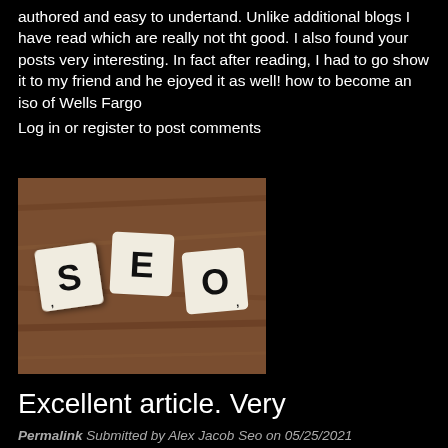authored and easy to undertand. Unlike additional blogs I have read which are really not tht good. I also found your posts very interesting. In fact after reading, I had to go show it to my friend and he ejoyed it as well! how to become an iso of Wells Fargo
Log in or register to post comments
[Figure (photo): Photo of three Scrabble-style tiles spelling SEO on a wooden surface background]
Excellent article. Very
Permalink Submitted by Alex Jacob Seo on 05/25/2021